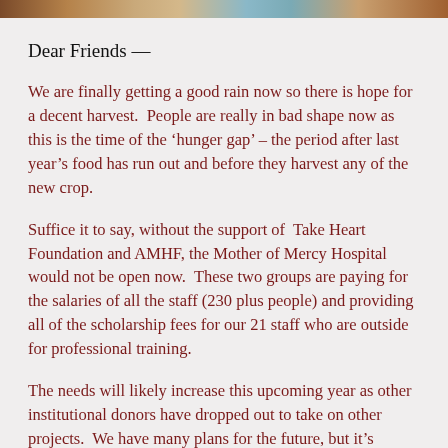[Figure (photo): Partial horizontal photo strip showing people, cropped at top of page]
Dear Friends —
We are finally getting a good rain now so there is hope for a decent harvest.  People are really in bad shape now as this is the time of the ‘hunger gap’ – the period after last year’s food has run out and before they harvest any of the new crop.
Suffice it to say, without the support of  Take Heart Foundation and AMHF, the Mother of Mercy Hospital would not be open now.  These two groups are paying for the salaries of all the staff (230 plus people) and providing all of the scholarship fees for our 21 staff who are outside for professional training.
The needs will likely increase this upcoming year as other institutional donors have dropped out to take on other projects.  We have many plans for the future, but it’s nothing without...